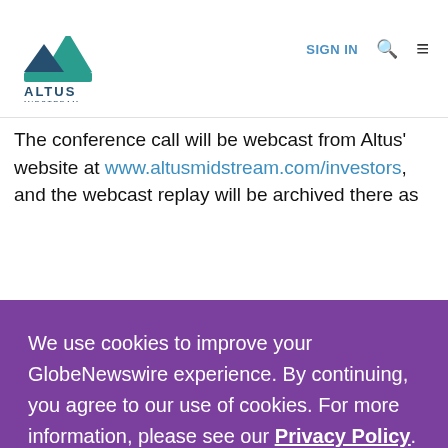[Figure (logo): Altus Midstream logo — teal/green triangle mountain graphic above the text ALTUS MIDSTREAM]
SIGN IN  🔍  ≡
The conference call will be webcast from Altus' website at www.altusmidstream.com/investors, and the webcast replay will be archived there as
We use cookies to improve your GlobeNewswire experience. By continuing, you agree to our use of cookies. For more information, please see our Privacy Policy.
ACCEPT